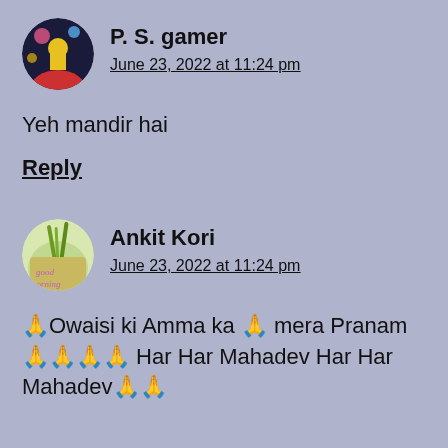P. S. gamer
June 23, 2022 at 11:24 pm
Yeh mandir hai
Reply
[Figure (photo): Circular avatar of P. S. gamer showing a performer on stage with colorful lights]
Ankit Kori
June 23, 2022 at 11:24 pm
[Figure (photo): Circular avatar of Ankit Kori with 'good morning' cursive text over a green leaf background]
🙏Owaisi ki Amma ka 🙏 mera Pranam 🙏🙏🙏🙏 Har Har Mahadev Har Har Mahadev🙏🙏